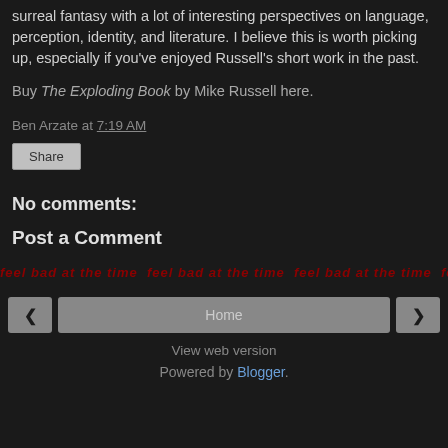surreal fantasy with a lot of interesting perspectives on language, perception, identity, and literature. I believe this is worth picking up, especially if you've enjoyed Russell's short work in the past.
Buy The Exploding Book by Mike Russell here.
Ben Arzate at 7:19 AM
Share
No comments:
Post a Comment
[Figure (screenshot): Scrolling text banner showing repeating text 'feel bad at the time feel bad at the time feel bad at the time' in red/brown italic font with gray smaller text below]
< Home >
View web version
Powered by Blogger.